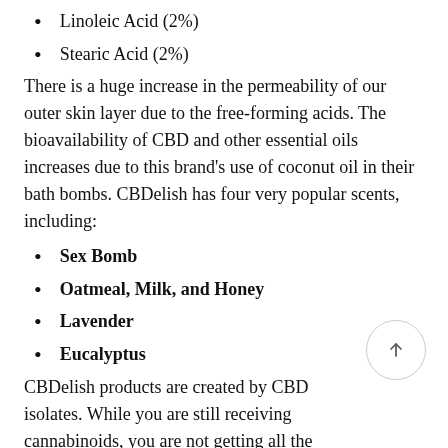Linoleic Acid (2%)
Stearic Acid (2%)
There is a huge increase in the permeability of our outer skin layer due to the free-forming acids. The bioavailability of CBD and other essential oils increases due to this brand’s use of coconut oil in their bath bombs. CBDelish has four very popular scents, including:
Sex Bomb
Oatmeal, Milk, and Honey
Lavender
Eucalyptus
CBDelish products are created by CBD isolates. While you are still receiving cannabinoids, you are not getting all the phytochemicals that are unique to the plant holistically.